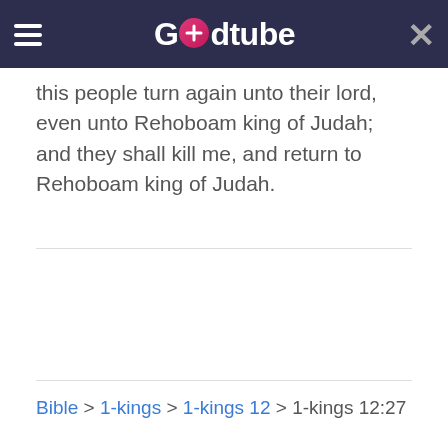Godtube
this people turn again unto their lord, even unto Rehoboam king of Judah; and they shall kill me, and return to Rehoboam king of Judah.
Bible > 1-kings > 1-kings 12 > 1-kings 12:27